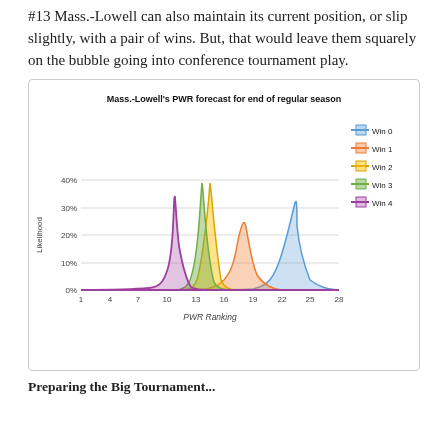#13 Mass.-Lowell can also maintain its current position, or slip slightly, with a pair of wins. But, that would leave them squarely on the bubble going into conference tournament play.
[Figure (continuous-plot): Overlapping area/line distributions showing likelihood vs PWR Ranking for Win 0 (blue, peak ~22), Win 1 (orange/red, peak ~18), Win 2 (yellow, peak ~14), Win 3 (green, peak ~13), Win 4 (purple, peak ~10). Y-axis 0%-40%, X-axis 1 to 28.]
Preparing the Big Tournament...